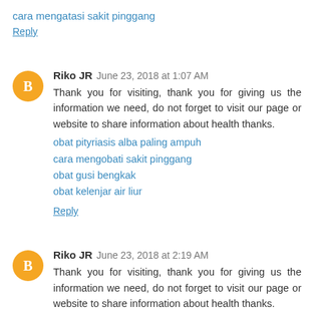cara mengatasi sakit pinggang
Reply
Riko JR June 23, 2018 at 1:07 AM
Thank you for visiting, thank you for giving us the information we need, do not forget to visit our page or website to share information about health thanks.
obat pityriasis alba paling ampuh
cara mengobati sakit pinggang
obat gusi bengkak
obat kelenjar air liur
Reply
Riko JR June 23, 2018 at 2:19 AM
Thank you for visiting, thank you for giving us the information we need, do not forget to visit our page or website to share information about health thanks.
Agen jelly gamat QnC cibeureum tasikmalaya
obat gondongan alami